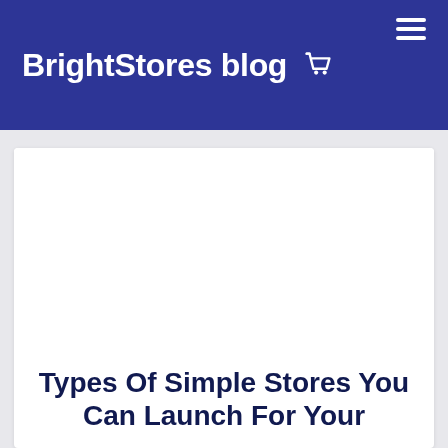BrightStores blog
Types Of Simple Stores You Can Launch For Your